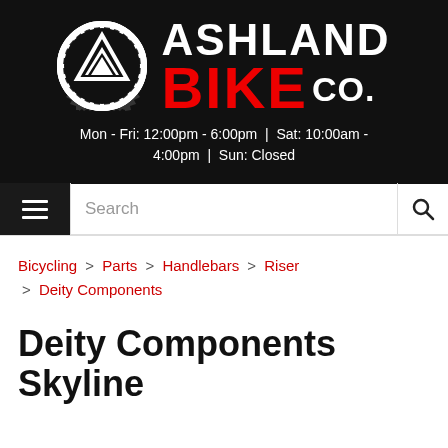[Figure (logo): Ashland Bike Co. logo with gear/chevron icon on black background]
Mon - Fri: 12:00pm - 6:00pm | Sat: 10:00am - 4:00pm | Sun: Closed
Search (navigation bar with hamburger menu and search icon)
Bicycling > Parts > Handlebars > Riser > Deity Components
Deity Components Skyline